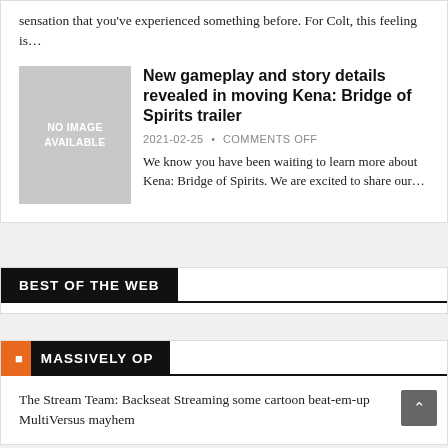sensation that you've experienced something before. For Colt, this feeling is…
New gameplay and story details revealed in moving Kena: Bridge of Spirits trailer
2021-02-25 • COMMENTS OFF
We know you have been waiting to learn more about Kena: Bridge of Spirits. We are excited to share our…
BEST OF THE WEB
MASSIVELY OP
The Stream Team: Backseat Streaming some cartoon beat-em-up MultiVersus mayhem